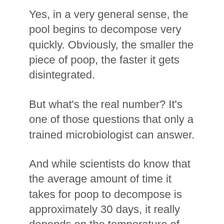Yes, in a very general sense, the pool begins to decompose very quickly. Obviously, the smaller the piece of poop, the faster it gets disintegrated.
But what's the real number? It's one of those questions that only a trained microbiologist can answer.
And while scientists do know that the average amount of time it takes for poop to decompose is approximately 30 days, it really depends on the temperature of the environment.
That's because there's more moisture in hot climates. Think of a back yard in Florida, where the average temperature is in the mid-90s, and you'll see